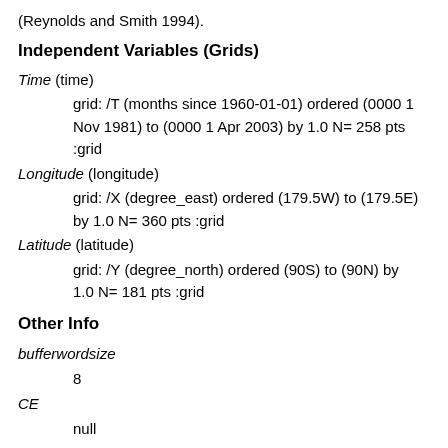(Reynolds and Smith 1994).
Independent Variables (Grids)
Time (time)
    grid: /T (months since 1960-01-01) ordered (0000 1 Nov 1981) to (0000 1 Apr 2003) by 1.0 N= 258 pts :grid
Longitude (longitude)
    grid: /X (degree_east) ordered (179.5W) to (179.5E) by 1.0 N= 360 pts :grid
Latitude (latitude)
    grid: /Y (degree_north) ordered (90S) to (90N) by 1.0 N= 181 pts :grid
Other Info
bufferwordsize
    8
CE
    null
colorscalename
    sstacolorscale
CS